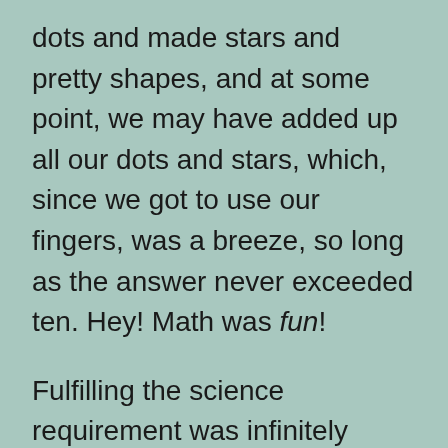dots and made stars and pretty shapes, and at some point, we may have added up all our dots and stars, which, since we got to use our fingers, was a breeze, so long as the answer never exceeded ten. Hey! Math was fun!
Fulfilling the science requirement was infinitely more taxing. I thought I had it sussed when I discovered a class nicknamed “Physics for Poets” existed. Hell, yea, methunk. I could dig a class where “torque” and “vector” were part of the iambic pentameter making up a sonnet. So great was my excitement, I bought pencils. I bought pencils.